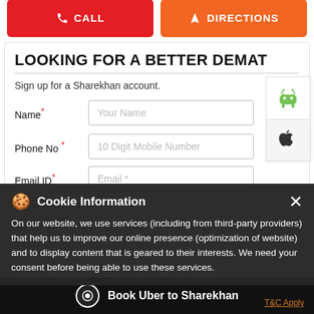[Figure (screenshot): CALL button (red) and DIRECTIONS button (orange) at top of page]
LOOKING FOR A BETTER DEMAT
Sign up for a Sharekhan account.
Name* [Your Name input field]
Phone No * [10 Digit Mobile Number input field]
Email ID* [Email input field]
Select* [dropdown field]
[Figure (screenshot): Cookie Information banner overlay: emoji cookie icon, title 'Cookie Information', close X, text about website services and consent]
On our website, we use services (including from third-party providers) that help us to improve our online presence (optimization of website) and to display content that is geared to their interests. We need your consent before being able to use these services.
Book Uber to Sharekhan   T&C Apply